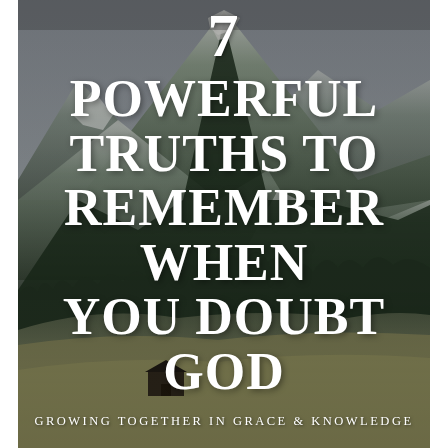[Figure (photo): Mountain landscape with snow-dusted peaks covered in dark evergreen forest, overcast sky, and a small wooden cabin/shed in the lower foreground on a grassy hillside. The scene is moody and dark-toned.]
7 POWERFUL TRUTHS TO REMEMBER WHEN YOU DOUBT GOD
GROWING TOGETHER IN GRACE & KNOWLEDGE